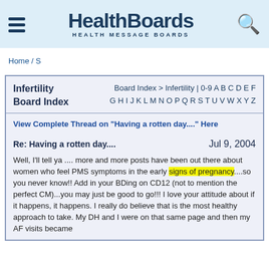HealthBoards HEALTH MESSAGE BOARDS
Home / S
Infertility Board Index — Board Index > Infertility | 0-9 A B C D E F G H I J K L M N O P Q R S T U V W X Y Z
View Complete Thread on "Having a rotten day...." Here
Re: Having a rotten day....  Jul 9, 2004
Well, I'll tell ya .... more and more posts have been out there about women who feel PMS symptoms in the early signs of pregnancy....so you never know!! Add in your BDing on CD12 (not to mention the perfect CM)...you may just be good to go!!! I love your attitude about if it happens, it happens. I really do believe that is the most healthy approach to take. My DH and I were on that same page and then my AF visits became